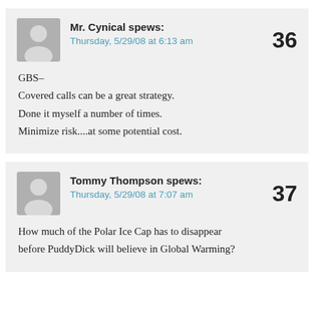Mr. Cynical spews: Thursday, 5/29/08 at 6:13 am — 36
GBS-
Covered calls can be a great strategy.
Done it myself a number of times.
Minimize risk....at some potential cost.
Tommy Thompson spews: Thursday, 5/29/08 at 7:07 am — 37
How much of the Polar Ice Cap has to disappear before PuddyDick will believe in Global Warming?